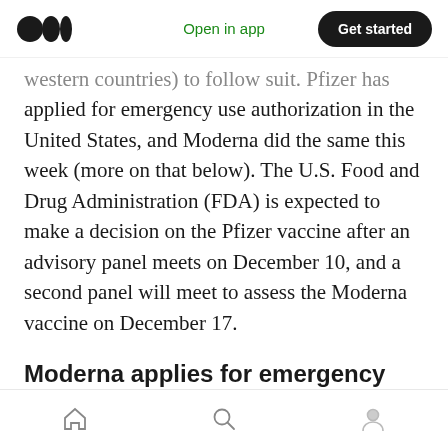Open in app | Get started
western countries) to follow suit. Pfizer has applied for emergency use authorization in the United States, and Moderna did the same this week (more on that below). The U.S. Food and Drug Administration (FDA) is expected to make a decision on the Pfizer vaccine after an advisory panel meets on December 10, and a second panel will meet to assess the Moderna vaccine on December 17.
Moderna applies for emergency use authorization
Following close on Pfizer's heels, Moderna said
Home | Search | Profile